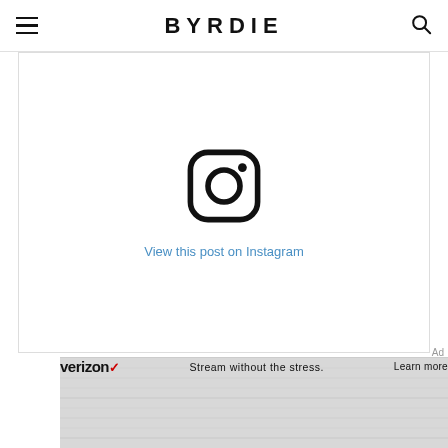BYRDIE
[Figure (screenshot): Instagram embed placeholder with Instagram camera icon and 'View this post on Instagram' link in blue text on white background with border]
View this post on Instagram
[Figure (screenshot): Verizon advertisement banner: 'Stream without the stress. Learn more' with Verizon logo on grey background]